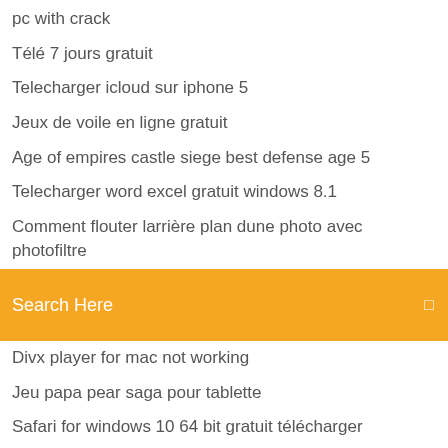pc with crack
Télé 7 jours gratuit
Telecharger icloud sur iphone 5
Jeux de voile en ligne gratuit
Age of empires castle siege best defense age 5
Telecharger word excel gratuit windows 8.1
Comment flouter larrière plan dune photo avec photofiltre
[Figure (screenshot): Orange search bar with text 'Search Here' and a search icon on the right]
Divx player for mac not working
Jeu papa pear saga pour tablette
Safari for windows 10 64 bit gratuit télécharger
Cisco vpn client télécharger windows 7 64
Age of empire 2 android gratuit télécharger
Candy crush saga 3832
Consulter ma boite mail orange
Logiciel pour créer de la musique facilement
Five night at freddys télécharger demo
Best street fighter game ps4